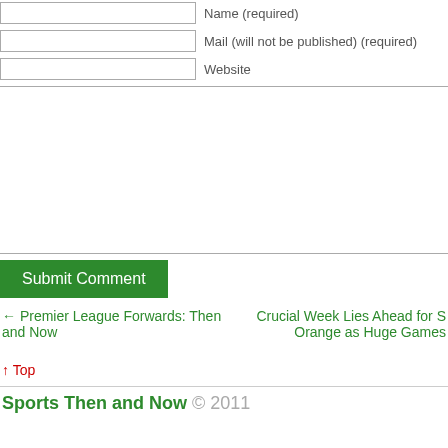Name (required)
Mail (will not be published) (required)
Website
[Comment textarea area]
Submit Comment
← Premier League Forwards: Then and Now
Crucial Week Lies Ahead for S Orange as Huge Games
↑ Top
Sports Then and Now © 2011